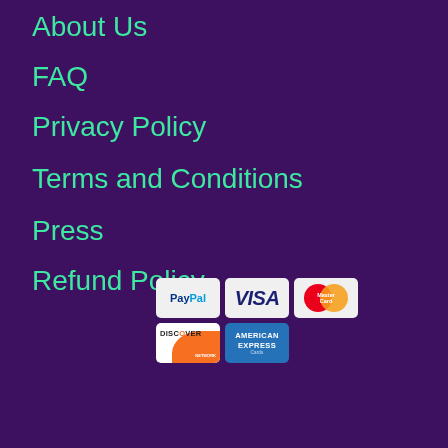About Us
FAQ
Privacy Policy
Terms and Conditions
Press
Refund Policy
[Figure (illustration): Payment method icons: PayPal, VISA, MasterCard, Discover, American Express]